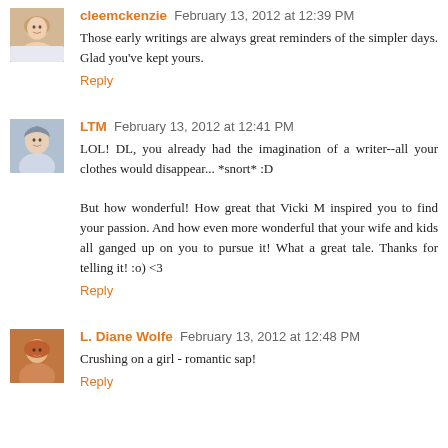[Figure (photo): Avatar photo of cleemckenzie, woman with light hair]
cleemckenzie February 13, 2012 at 12:39 PM
Those early writings are always great reminders of the simpler days. Glad you've kept yours.
Reply
[Figure (photo): Avatar photo of LTM, person with hat]
LTM February 13, 2012 at 12:41 PM
LOL! DL, you already had the imagination of a writer--all your clothes would disappear... *snort* :D
But how wonderful! How great that Vicki M inspired you to find your passion. And how even more wonderful that your wife and kids all ganged up on you to pursue it! What a great tale. Thanks for telling it! :o) <3
Reply
[Figure (photo): Avatar photo of L. Diane Wolfe, woman with reddish hair]
L. Diane Wolfe February 13, 2012 at 12:48 PM
Crushing on a girl - romantic sap!
Reply